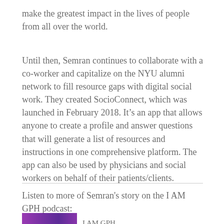make the greatest impact in the lives of people from all over the world.
Until then, Semran continues to collaborate with a co-worker and capitalize on the NYU alumni network to fill resource gaps with digital social work. They created SocioConnect, which was launched in February 2018. It's an app that allows anyone to create a profile and answer questions that will generate a list of resources and instructions in one comprehensive platform. The app can also be used by physicians and social workers on behalf of their patients/clients.
Listen to more of Semran's story on the I AM GPH podcast:
[Figure (screenshot): Partial podcast image thumbnail with purple/magenta tones and text label I AM GPH]